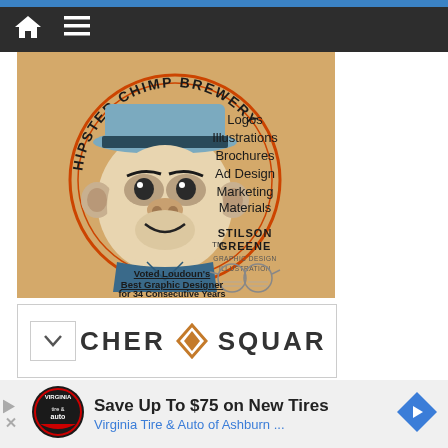Navigation bar with home and menu icons
[Figure (illustration): Hipster Chimp Brewery promotional image showing a chimp wearing a hat inside an orange circle. Lists services: Logos, Illustrations, Brochures, Ad Design, Marketing Materials. Shows Stilson Greene Graphic Design Illustration branding and text 'Voted Loudoun's Best Graphic Designer for 34 Consecutive Years']
[Figure (logo): Partial view of Archer Square logo with diamond/arrow symbol]
[Figure (infographic): Advertisement: Save Up To $75 on New Tires - Virginia Tire & Auto of Ashburn ... with Virginia tire and auto logo and navigation arrow icon]